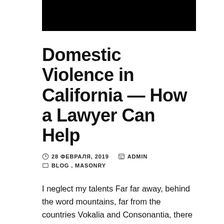[Figure (photo): Black header image bar at top of page]
Domestic Violence in California — How a Lawyer Can Help
28 ФЕВРАЛЯ, 2019   ADMIN   BLOG, MASONRY
I neglect my talents Far far away, behind the word mountains, far from the countries Vokalia and Consonantia, there live the blind texts. Separated they live in Bookmarksgrove right at